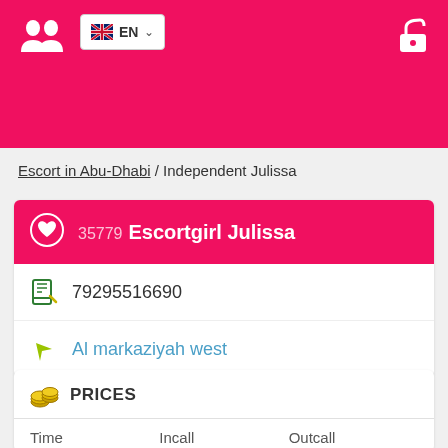[Figure (screenshot): Pink header bar with logo (two silhouette figures), EN language selector with UK flag, and unlock icon]
Escort in Abu-Dhabi / Independent Julissa
35779 Escortgirl Julissa
79295516690
Al markaziyah west
PRICES
| Time | Incall | Outcall |
| --- | --- | --- |